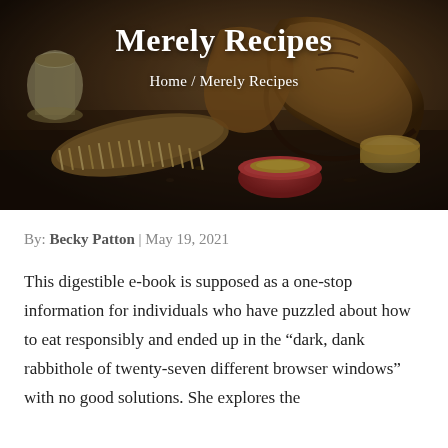[Figure (photo): Hero image showing old brown leather boots, a shoe brush, a round tin of shoe polish with red lid, a small glass jar, and shoe care supplies arranged on a dark surface. Overlaid with the title 'Merely Recipes' and breadcrumb 'Home / Merely Recipes' in white text.]
Merely Recipes
Home / Merely Recipes
By: Becky Patton | May 19, 2021
This digestible e-book is supposed as a one-stop information for individuals who have puzzled about how to eat responsibly and ended up in the “dark, dank rabbithole of twenty-seven different browser windows” with no good solutions. She explores the